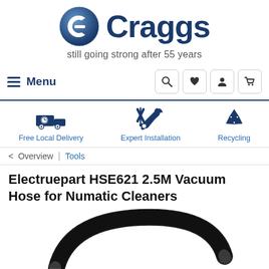[Figure (logo): Craggs logo: blue circle with stylized G and brand name 'Craggs' in dark navy, tagline 'still going strong after 55 years']
Menu
[Figure (infographic): Navigation icons: search (magnifying glass), heart (wishlist), person (account), shopping cart]
[Figure (infographic): Three service icons: Free Local Delivery (truck with clock), Expert Installation (tools/wrench), Recycling (recycling symbol)]
< Overview | Tools
Electruepart HSE621 2.5M Vacuum Hose for Numatic Cleaners
[Figure (photo): Black corrugated vacuum hose with connector ends, coiled]